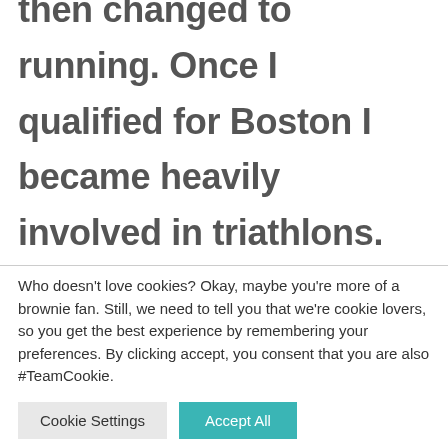then changed to running. Once I qualified for Boston I became heavily involved in triathlons. After the ultimate goal of Ironman I moved more into off-road everything – mountain biking, trail running, hiking, adventure racing. A couple of years
Who doesn't love cookies? Okay, maybe you're more of a brownie fan. Still, we need to tell you that we're cookie lovers, so you get the best experience by remembering your preferences. By clicking accept, you consent that you are also #TeamCookie.